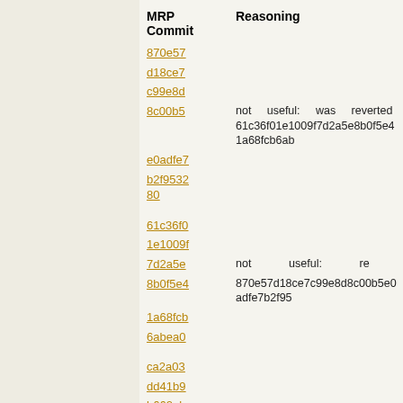| MRP Commit | Reasoning |
| --- | --- |
| 870e57 |  |
| d18ce7 |  |
| c99e8d |  |
| 8c00b5 | not useful: was reverted 61c36f01e1009f7d2a5e8b0f5e41a68fcb6ab... |
| e0adfe7 |  |
| b2f953280 |  |
| 61c36f0 |  |
| 1e1009f |  |
| 7d2a5e | not useful: re... |
| 8b0f5e4 | 870e57d18ce7c99e8d8c00b5e0adfe7b2f95... |
| 1a68fcb |  |
| 6abea0 |  |
| ca2a03 |  |
| dd41b9 |  |
| b662ab |  |
| 4feed0c |  |
| 495255 |  |
| 2265aa |  |
| b79 |  |
| ae3518 |  |
| 13a10fd |  |